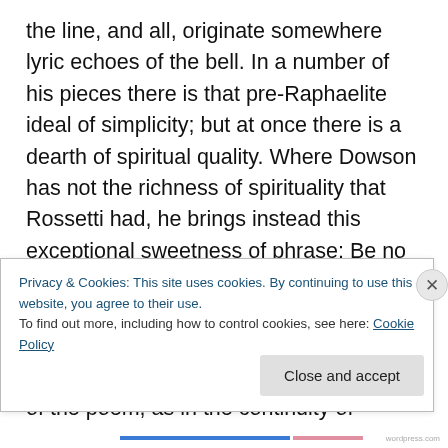the line, and all, originate somewhere lyric echoes of the bell. In a number of his pieces there is that pre-Raphaelite ideal of simplicity; but at once there is a dearth of spiritual quality. Where Dowson has not the richness of spirituality that Rossetti had, he brings instead this exceptional sweetness of phrase: Be no word spoken ; Weep nothing; let a pale Silence, unbroken Silence prevail ! Now the intoxicating music of Cyncra, as a variant, lies as much in the atmosphere of the poem, as in the continuity of euphonious ex pression. The very title is the raindrop before the shower, fore, hinting what is to follow. And the
Privacy & Cookies: This site uses cookies. By continuing to use this website, you agree to their use.
To find out more, including how to control cookies, see here: Cookie Policy
Close and accept